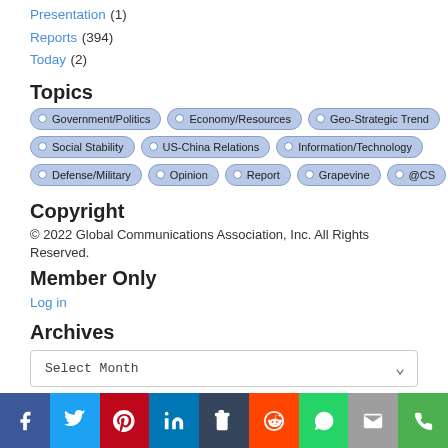Presentation (1)
Reports (394)
Today (2)
Topics
Government/Politics | Economy/Resources | Geo-Strategic Trend | Social Stability | US-China Relations | Information/Technology | Defense/Military | Opinion | Report | Grapevine | @CS
Copyright
© 2022 Global Communications Association, Inc. All Rights Reserved.
Member Only
Log in
Archives
Select Month